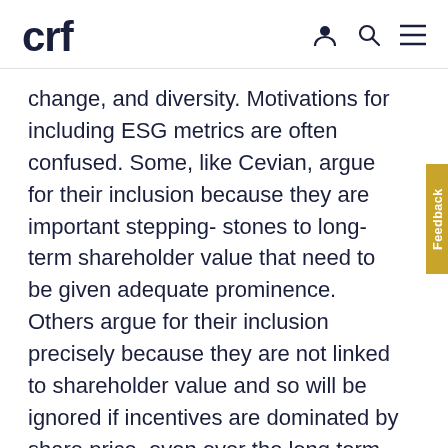crf
change, and diversity. Motivations for including ESG metrics are often confused. Some, like Cevian, argue for their inclusion because they are important stepping- stones to long-term shareholder value that need to be given adequate prominence. Others argue for their inclusion precisely because they are not linked to shareholder value and so will be ignored if incentives are dominated by share price, even over the long term.
One dimension where the quality of ESG goals is questionable relates to the nature of the targets themselves. Too often goals are ill-defined input goals as opposed to more